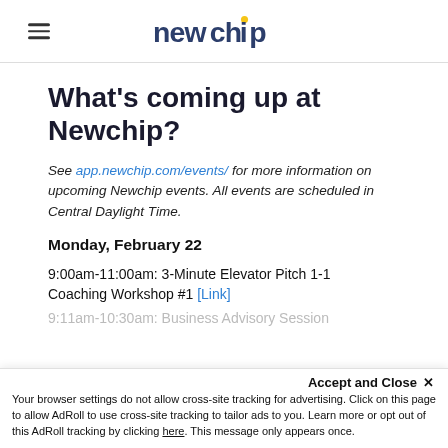newchip
What's coming up at Newchip?
See app.newchip.com/events/ for more information on upcoming Newchip events. All events are scheduled in Central Daylight Time.
Monday, February 22
9:00am-11:00am: 3-Minute Elevator Pitch 1-1 Coaching Workshop #1 [Link]
9:11am-10:30am: Business Advisory Session
Your browser settings do not allow cross-site tracking for advertising. Click on this page to allow AdRoll to use cross-site tracking to tailor ads to you. Learn more or opt out of this AdRoll tracking by clicking here. This message only appears once.